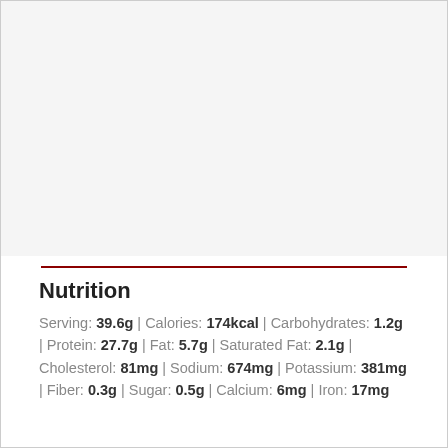Nutrition
Serving: 39.6g | Calories: 174kcal | Carbohydrates: 1.2g | Protein: 27.7g | Fat: 5.7g | Saturated Fat: 2.1g | Cholesterol: 81mg | Sodium: 674mg | Potassium: 381mg | Fiber: 0.3g | Sugar: 0.5g | Calcium: 6mg | Iron: 17mg